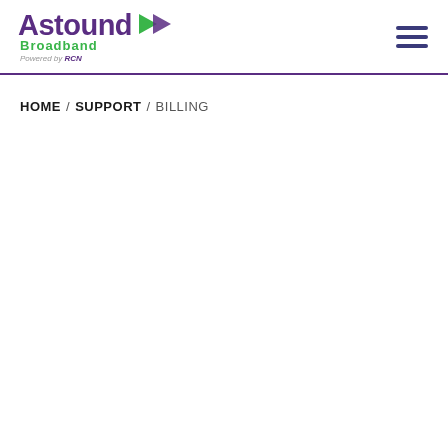[Figure (logo): Astound Broadband Powered by RCN logo — purple wordmark with green arrow and 'Broadband' in green, 'Powered by RCN' in gray italic below]
HOME / SUPPORT / BILLING